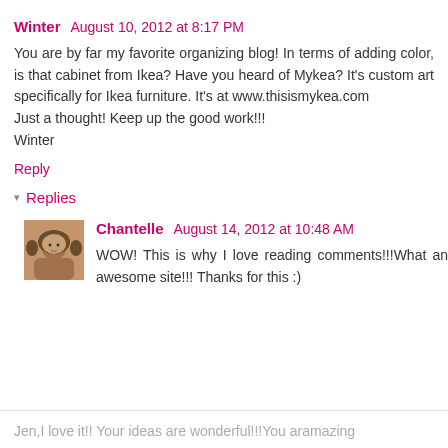Winter  August 10, 2012 at 8:17 PM
You are by far my favorite organizing blog! In terms of adding color, is that cabinet from Ikea? Have you heard of Mykea? It's custom art specifically for Ikea furniture. It's at www.thisismykea.com
Just a thought! Keep up the good work!!!
Winter
Reply
▾ Replies
Chantelle  August 14, 2012 at 10:48 AM
WOW! This is why I love reading comments!!!What an awesome site!!! Thanks for this :)
Jen,I love it!! Your ideas are wonderful!!!You aramazing